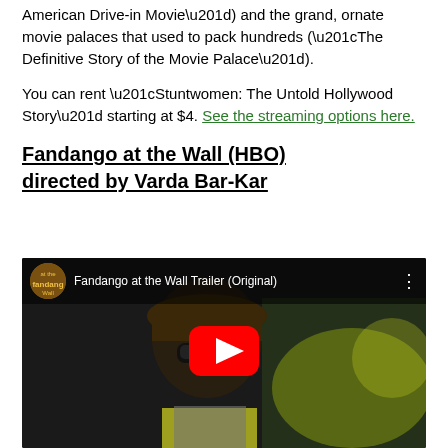American Drive-in Movie") and the grand, ornate movie palaces that used to pack hundreds (“The Definitive Story of the Movie Palace”).
You can rent “stuntwomen: The Untold Hollywood Story” starting at $4. See the streaming options here.
Fandango at the Wall (HBO) directed by Varda Bar-Kar
[Figure (screenshot): YouTube video thumbnail showing a man wearing a hat and sunglasses with a yellow vest at an event, with a red YouTube play button overlay and the video title 'Fandango at the Wall Trailer (Original)']